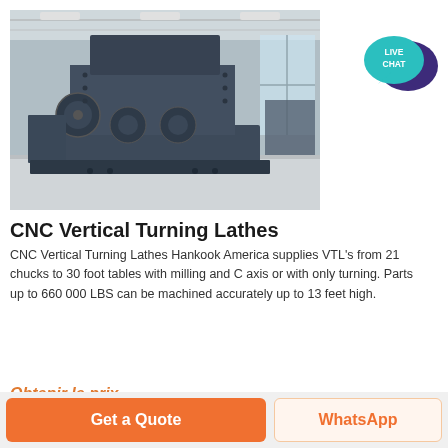[Figure (photo): Large industrial CNC Vertical Turning Lathe machine (dark gray/slate colored) on a factory floor in a large industrial warehouse. The machine has a massive rectangular body with gear/wheel mechanisms visible on the sides.]
[Figure (logo): Live Chat badge — teal/mint speech bubble with 'LIVE CHAT' text in white, overlapping a dark purple larger speech bubble icon.]
CNC Vertical Turning Lathes
CNC Vertical Turning Lathes Hankook America supplies VTL's from 21 chucks to 30 foot tables with milling and C axis or with only turning. Parts up to 660 000 LBS can be machined accurately up to 13 feet high.
Obtenir le prix
Get a Quote
WhatsApp